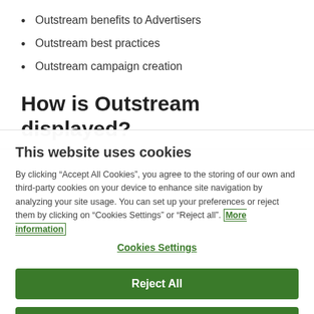Outstream benefits to Advertisers
Outstream best practices
Outstream campaign creation
How is Outstream displayed?
This website uses cookies
By clicking “Accept All Cookies”, you agree to the storing of our own and third-party cookies on your device to enhance site navigation by analyzing your site usage. You can set up your preferences or reject them by clicking on “Cookies Settings” or “Reject all”. More information
Cookies Settings
Reject All
Accept All Cookies